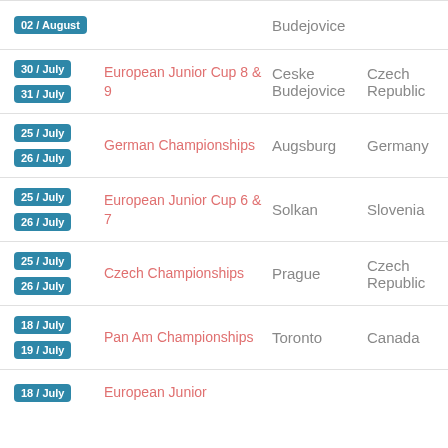| Date | Event | City | Country |
| --- | --- | --- | --- |
| 02 / August | Haus International | Budejovice |  |
| 30 / July
31 / July | European Junior Cup 8 & 9 | Ceske Budejovice | Czech Republic |
| 25 / July
26 / July | German Championships | Augsburg | Germany |
| 25 / July
26 / July | European Junior Cup 6 & 7 | Solkan | Slovenia |
| 25 / July
26 / July | Czech Championships | Prague | Czech Republic |
| 18 / July
19 / July | Pan Am Championships | Toronto | Canada |
| 18 / July | European Junior |  |  |